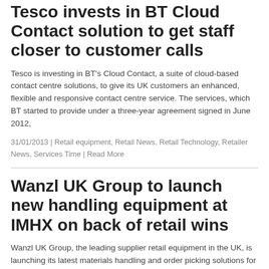Tesco invests in BT Cloud Contact solution to get staff closer to customer calls
Tesco is investing in BT's Cloud Contact, a suite of cloud-based contact centre solutions, to give its UK customers an enhanced, flexible and responsive contact centre service. The services, which BT started to provide under a three-year agreement signed in June 2012,
31/01/2013 | Retail equipment, Retail News, Retail Technology, Retailer News, Services Time | Read More
Wanzl UK Group to launch new handling equipment at IMHX on back of retail wins
Wanzl UK Group, the leading supplier retail equipment in the UK, is launching its latest materials handling and order picking solutions for the warehousing, distribution and online retailing sectors at the International Materials Handling Exhibition (IMHX), 19-22 March 2013. Wanzl will feature its